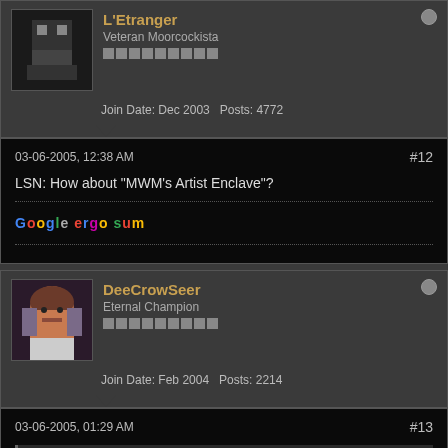L'Etranger
Veteran Moorcockista
Join Date: Dec 2003  Posts: 4772
03-06-2005, 12:38 AM  #12
LSN: How about "MWM's Artist Enclave"?
Google ergo sum
DeeCrowSeer
Eternal Champion
Join Date: Feb 2004  Posts: 2214
03-06-2005, 01:29 AM  #13
Originally posted by Doc